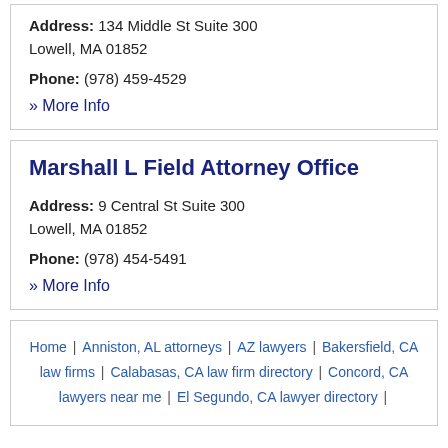Address: 134 Middle St Suite 300 Lowell, MA 01852
Phone: (978) 459-4529
» More Info
Marshall L Field Attorney Office
Address: 9 Central St Suite 300 Lowell, MA 01852
Phone: (978) 454-5491
» More Info
Home | Anniston, AL attorneys | AZ lawyers | Bakersfield, CA law firms | Calabasas, CA law firm directory | Concord, CA lawyers near me | El Segundo, CA lawyer directory |